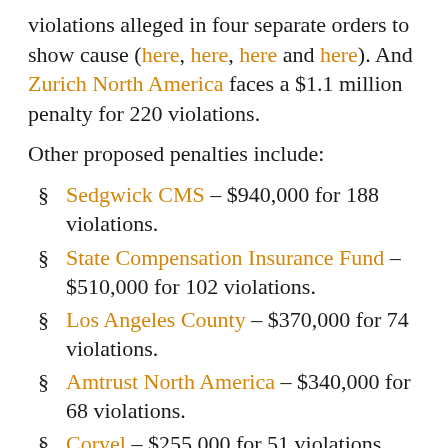violations alleged in four separate orders to show cause (here, here, here and here). And Zurich North America faces a $1.1 million penalty for 220 violations.
Other proposed penalties include:
Sedgwick CMS – $940,000 for 188 violations.
State Compensation Insurance Fund – $510,000 for 102 violations.
Los Angeles County – $370,000 for 74 violations.
Amtrust North America – $340,000 for 68 violations.
Corvel – $255,000 for 51 violations.
It's not clear from most of the orders how